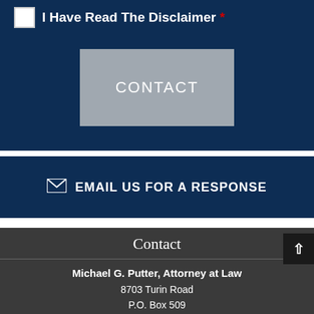I Have Read The Disclaimer *
[Figure (other): CONTACT button (gray rectangle with white text)]
EMAIL US FOR A RESPONSE
Contact
Michael G. Putter, Attorney at Law
8703 Turin Road
P.O. Box 509
Rome, NY 13442-0509